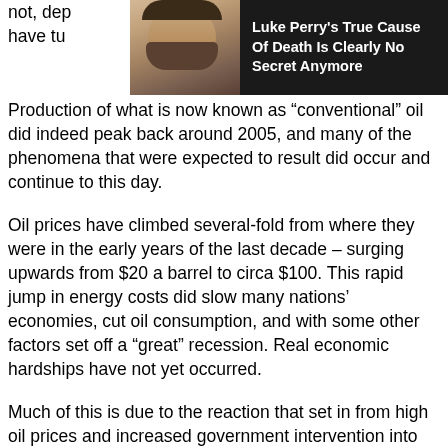[Figure (photo): Photo of Luke Perry (man with beard) partially visible behind an ad overlay]
not, dep... rs have tu... cted.
Luke Perry's True Cause Of Death Is Clearly No Secret Anymore
Production of what is now known as “conventional” oil did indeed peak back around 2005, and many of the phenomena that were expected to result did occur and continue to this day.
Oil prices have climbed several-fold from where they were in the early years of the last decade – surging upwards from $20 a barrel to circa $100. This rapid jump in energy costs did slow many nations’ economies, cut oil consumption, and with some other factors set off a “great” recession. Real economic hardships have not yet occurred.
Much of this is due to the reaction that set in from high oil prices and increased government intervention into the economy. In the case of the U.S., Washington turned on the modern day equivalent of the printing presses and began handing out money that was used to develop expensive